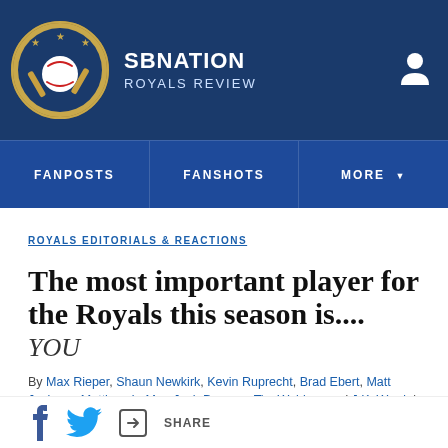SB NATION | ROYALS REVIEW
FANPOSTS | FANSHOTS | MORE
ROYALS EDITORIALS & REACTIONS
The most important player for the Royals this season is....
YOU
By Max Rieper, Shaun Newkirk, Kevin Ruprecht, Brad Ebert, Matt Jackson, Matthew LaMar, Josh Duggan, Tim Webber, and J.K. Ward | Mar 23, 2016, 10:00am EDT
SHARE